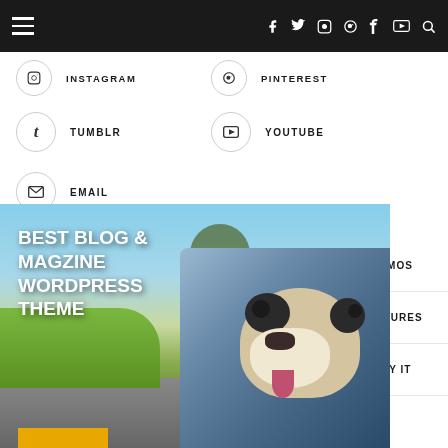Navigation bar with hamburger menu and social icons: f, twitter, instagram, pinterest, tumblr, youtube, search
INSTAGRAM
PINTEREST
TUMBLR
YOUTUBE
EMAIL
DEMOS
FEATURES
BUY IT
[Figure (photo): Hero image of a Boston Terrier dog leaning out of a car window on a scenic road with trees and grass, overlaid with bold white text reading BEST BLOG & MAGZINE WORDPRESS THEME and a yellow/orange button at the bottom]